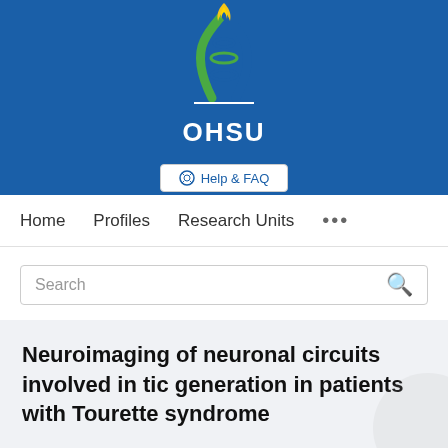[Figure (logo): OHSU (Oregon Health & Science University) logo with stylized DNA double helix and flame in blue, green, and yellow colors, with OHSU text in white below]
Help & FAQ
Home   Profiles   Research Units   ...
Search
Neuroimaging of neuronal circuits involved in tic generation in patients with Tourette syndrome